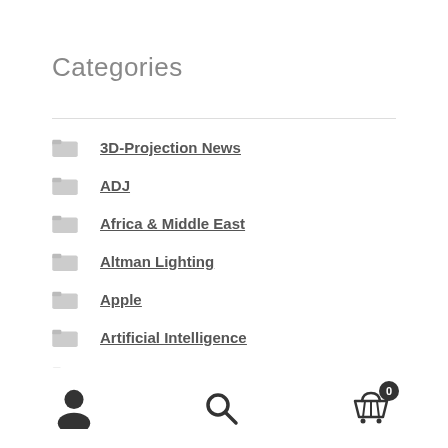Categories
3D-Projection News
ADJ
Africa & Middle East
Altman Lighting
Apple
Artificial Intelligence
Asia Events
Audience Response News